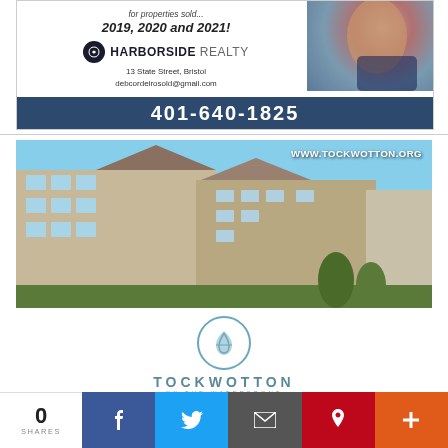[Figure (photo): Harborside Realty advertisement with agent photo, logo, address, and phone number 401-640-1825]
[Figure (photo): Tockwotton on the Waterfront advertisement showing building exterior photo with URL www.tockwotton.org, logo, tagline 'A tradition of excellent care meets waterfront elegance', and services: Assisted Living, Memory Care, Short-Term Rehabilitation, Skilled Nursing]
[Figure (infographic): Social sharing bar showing 0 SHARES with Facebook, Twitter, Email, Pinterest, and Plus buttons]